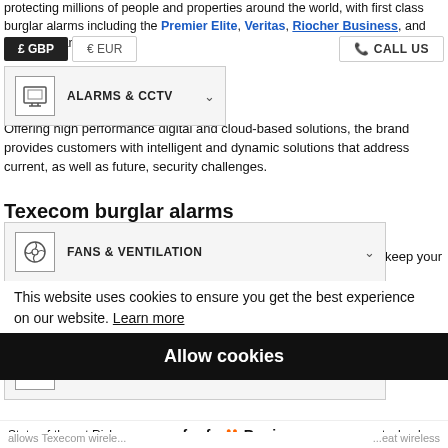protecting millions of people and properties around the world, with first class burglar alarms including the Premier Elite, Veritas, Riocher Business, and Connect ranges.
[Figure (screenshot): Navigation bar with £GBP, €EUR currency selectors and CALL US button, overlaid with dropdown menus: ALARMS & CCTV, FANS & VENTILATION, ELECTRICAL EQUIPMENT, SOCKETS & SWITCHES]
Offering high performance digital and cloud-based solutions, the brand provides customers with intelligent and dynamic solutions that address current, as well as future, security challenges.
Texecom burglar alarms
We supply an extensive range of Texecom burglar alarms that will keep your residential, commercial or business property safe and secure.
Alongside our high performance, cost effective range of Texecom burglar alarms, we also supply additional security system elements, including LCD keypads and alarm keypads to enhance the functionality of your burglar alarm.
This website uses cookies to ensure you get the best experience on our website. Learn more
Allow cookies
State-of-the-art Richoc... feefo Reviews ...ss technology allows Texecom wirele... ...eat wireless